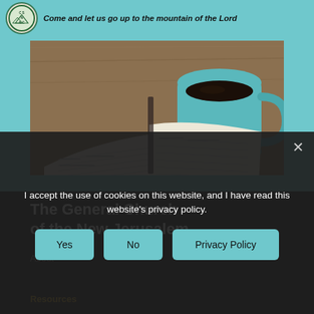Come and let us go up to the mountain of the Lord
[Figure (photo): Open Bible with pages spread out on a wooden table, alongside a teal/mint colored mug of black coffee]
The General Church of the New Jerusalem
I accept the use of cookies on this website, and I have read this website's privacy policy.
Yes   No   Privacy Policy
About
Resources